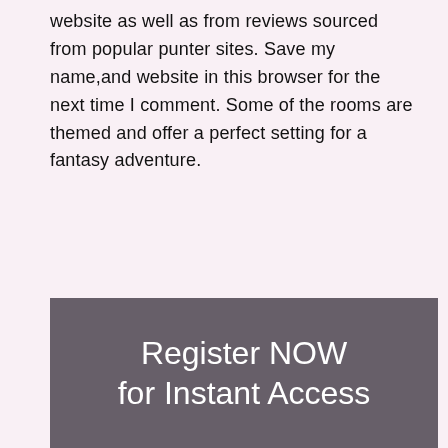website as well as from reviews sourced from popular punter sites. Save my name,and website in this browser for the next time I comment. Some of the rooms are themed and offer a perfect setting for a fantasy adventure.
[Figure (other): Dark grey/purple banner with white text reading 'Register NOW for Instant Access']